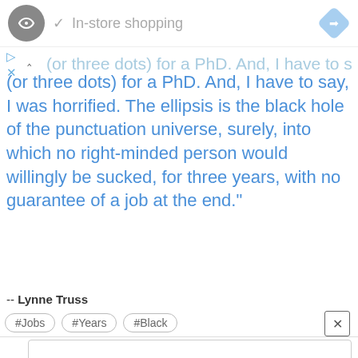[Figure (screenshot): App UI screenshot with logo circle, in-store shopping label, navigation diamond icon, and close button in top bar]
(or three dots) for a PhD. And, I have to say, I was horrified. The ellipsis is the black hole of the punctuation universe, surely, into which no right-minded person would willingly be sucked, for three years, with no guarantee of a job at the end."
-- Lynne Truss
#Jobs  #Years  #Black